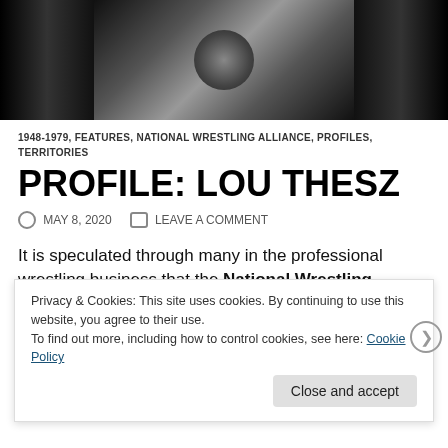[Figure (photo): Black and white photo of a wrestling figure, partially cropped at the top of the page]
1948-1979, FEATURES, NATIONAL WRESTLING ALLIANCE, PROFILES, TERRITORIES
PROFILE: LOU THESZ
MAY 8, 2020   LEAVE A COMMENT
It is speculated through many in the professional wrestling business that the National Wrestling Alliance would not have excelled without the legitimate athlete Lou Thesz at t[he helm]. W[hatever...]
Privacy & Cookies: This site uses cookies. By continuing to use this website, you agree to their use.
To find out more, including how to control cookies, see here: Cookie Policy
Close and accept